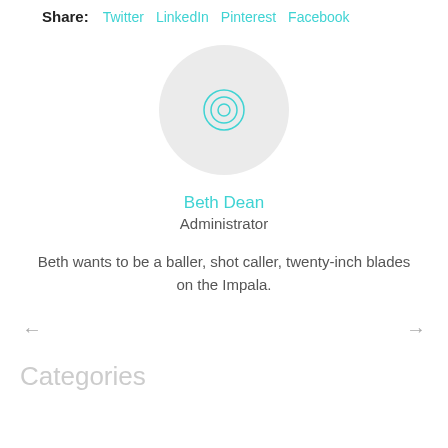Share: Twitter LinkedIn Pinterest Facebook
[Figure (illustration): Circular avatar placeholder with concentric circles icon in teal on light grey background]
Beth Dean
Administrator
Beth wants to be a baller, shot caller, twenty-inch blades on the Impala.
← →
Categories